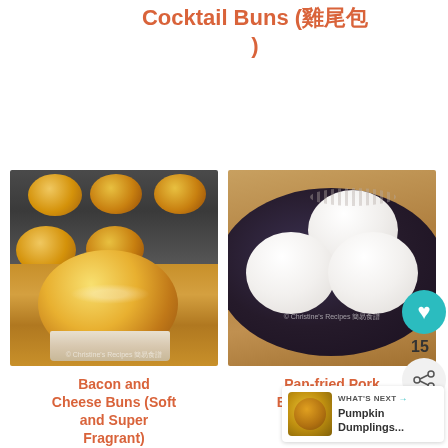Cocktail Buns (雞尾包)
[Figure (photo): Golden baked cocktail buns on a dark baking tray and large bun in cupcake liner on wooden board]
[Figure (photo): White steamed pork buns (Shengjian Bao) on a dark round plate on wooden surface, watermark: © Christine's Recipes 簡易食譜]
Bacon and Cheese Buns (Soft and Super Fragrant)
Pan-fried Pork Buns (Shengjian Bao 生煎包)
15
WHAT'S NEXT → Pumpkin Dumplings...